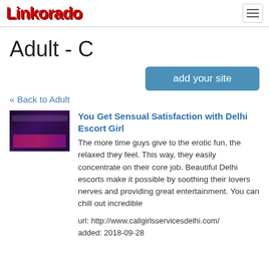Linkorado
Adult - C
add your site
« Back to Adult
[Figure (screenshot): Thumbnail screenshot of a website with dark purple background and pink/magenta banner elements.]
You Get Sensual Satisfaction with Delhi Escort Girl
The more time guys give to the erotic fun, the relaxed they feel. This way, they easily concentrate on their core job. Beautiful Delhi escorts make it possible by soothing their lovers nerves and providing great entertainment. You can chill out incredible
url: http://www.callgirlsservicesdelhi.com/
added: 2018-09-28